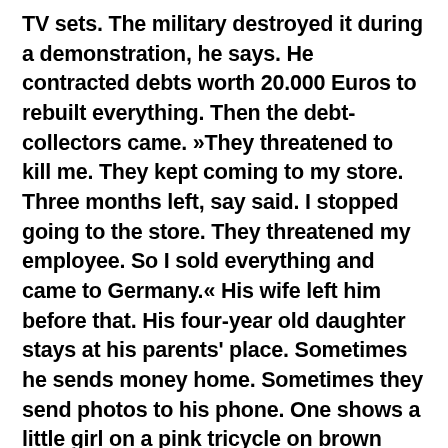TV sets. The military destroyed it during a demonstration, he says. He contracted debts worth 20.000 Euros to rebuilt everything. Then the debt-collectors came. »They threatened to kill me. They kept coming to my store. Three months left, say said. I stopped going to the store. They threatened my employee. So I sold everything and came to Germany.« His wife left him before that. His four-year old daughter stays at his parents' place. Sometimes he sends money home. Sometimes they send photos to his phone. One shows a little girl on a pink tricycle on brown dust. Toni hopes that German government accepts his work contract